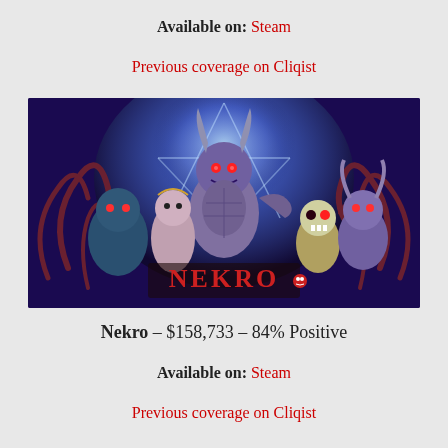Available on: Steam
Previous coverage on Cliqist
[Figure (illustration): Game artwork for Nekro showing fantasy/dark monsters and characters with NEKRO title logo at bottom, purple and blue color scheme]
Nekro – $158,733 – 84% Positive
Available on: Steam
Previous coverage on Cliqist